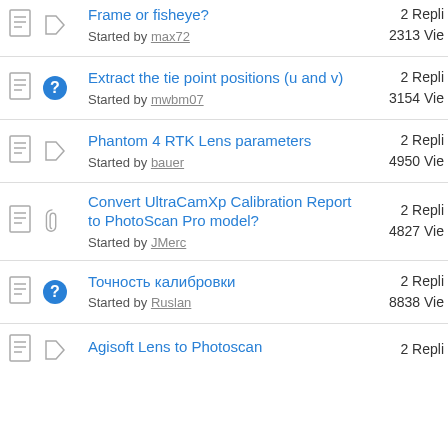Frame or fisheye? Started by max72 | 2 Replies 2313 Views
Extract the tie point positions (u and v) Started by mwbm07 | 2 Replies 3154 Views
Phantom 4 RTK Lens parameters Started by bauer | 2 Replies 4950 Views
Convert UltraCamXp Calibration Report to PhotoScan Pro model? Started by JMerc | 2 Replies 4827 Views
Точность калибровки Started by Ruslan | 2 Replies 8838 Views
Agisoft Lens to Photoscan | 2 Replies